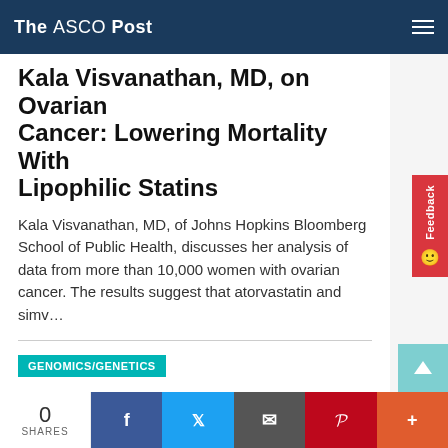The ASCO Post
Kala Visvanathan, MD, on Ovarian Cancer: Lowering Mortality With Lipophilic Statins
Kala Visvanathan, MD, of Johns Hopkins Bloomberg School of Public Health, discusses her analysis of data from more than 10,000 women with ovarian cancer. The results suggest that atorvastatin and simv...
GENOMICS/GENETICS
By Alice Goodman / August 10, 2020 / AACR Virtual Annual Meeting 2020 II
Higher Prevalence of Germline Mutations Identified in Young Adults